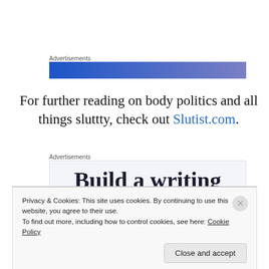[Figure (other): Advertisement banner with blue-to-purple gradient bar]
For further reading on body politics and all things sluttty, check out Slutist.com.
[Figure (other): Advertisement box with text 'Build a writing habit. Post']
Privacy & Cookies: This site uses cookies. By continuing to use this website, you agree to their use.
To find out more, including how to control cookies, see here: Cookie Policy
Close and accept